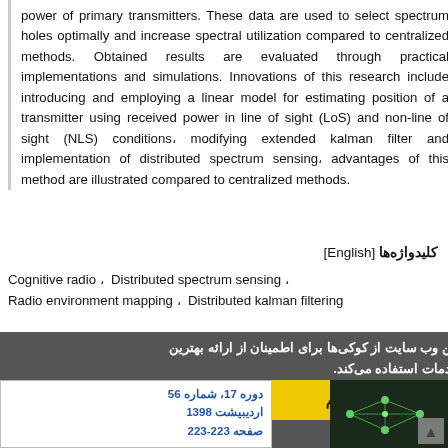power of primary transmitters. These data are used to select spectrum holes optimally and increase spectral utilization compared to centralized methods. Obtained results are evaluated through practical implementations and simulations. Innovations of this research include introducing and employing a linear model for estimating position of a transmitter using received power in line of sight (LoS) and non-line of sight (NLS) conditions، modifying extended kalman filter and implementation of distributed spectrum sensing، advantages of this method are illustrated compared to centralized methods.
کلیدواژه‌ها [English]
Cognitive radio ، Distributed spectrum sensing ،
Radio environment mapping ، Distributed kalman filtering
[Figure (screenshot): Website cookie consent overlay banner in Persian with 'متوجه شدم' (I understood) yellow confirmation button, and a journal info box showing دوره 17، شماره 56, اردیبیشت 1398, صفحه 223-223, with a dark thumbnail of a network diagram]